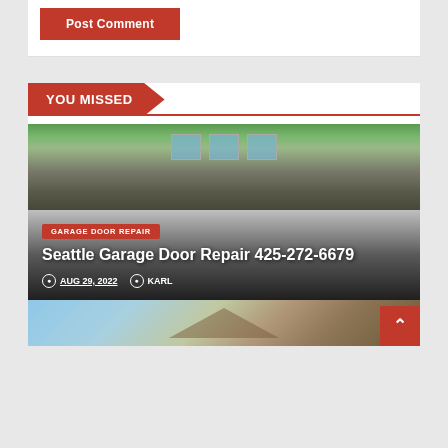Post Comment
YOU MISSED
[Figure (photo): House exterior with garage door — upper portion showing roofline, windows, and siding]
GARAGE DOOR REPAIR
Seattle Garage Door Repair 425-272-6679
AUG 29, 2022  KARL
[Figure (photo): Lower portion of a house exterior with roofline and sky visible]